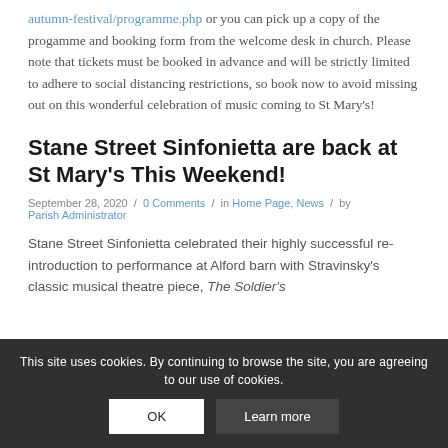autumn-festival/programme.php or you can pick up a copy of the progamme and booking form from the welcome desk in church. Please note that tickets must be booked in advance and will be strictly limited to adhere to social distancing restrictions, so book now to avoid missing out on this wonderful celebration of music coming to St Mary's!
Stane Street Sinfonietta are back at St Mary's This Weekend!
September 28, 2020 / 0 Comments / in Home Page, News / by Parish Administrator
Stane Street Sinfonietta celebrated their highly successful re-introduction to performance at Alford barn with Stravinsky's classic musical theatre piece, The Soldier's
This site uses cookies. By continuing to browse the site, you are agreeing to our use of cookies.